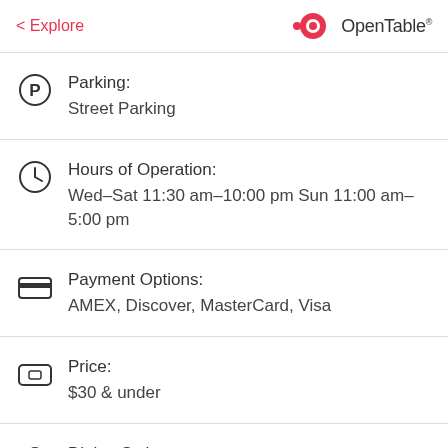< Explore | OpenTable
Parking: Street Parking
Hours of Operation: Wed–Sat 11:30 am–10:00 pm Sun 11:00 am–5:00 pm
Payment Options: AMEX, Discover, MasterCard, Visa
Price: $30 & under
Dining Style: